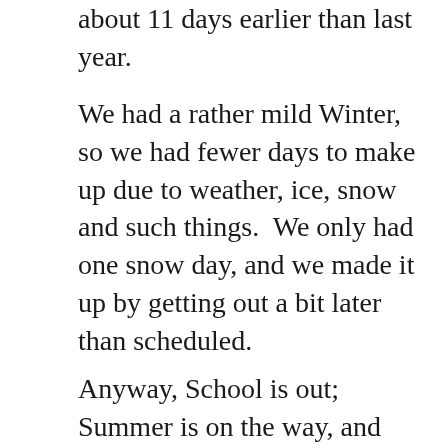about 11 days earlier than last year.
We had a rather mild Winter, so we had fewer days to make up due to weather, ice, snow and such things.  We only had one snow day, and we made it up by getting out a bit later than scheduled.
Anyway, School is out; Summer is on the way, and boy am I glad to see it.
Privacy & Cookies: This site uses cookies. By continuing to use this website, you agree to their use.
To find out more, including how to control cookies, see here:
Cookie Policy
Close and accept